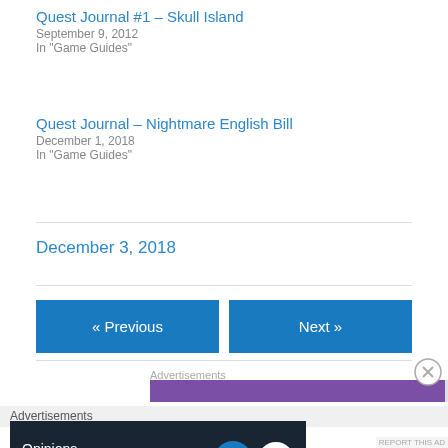Quest Journal #1 – Skull Island
September 9, 2012
In "Game Guides"
Quest Journal – Nightmare English Bill
December 1, 2018
In "Game Guides"
December 3, 2018
« Previous
Next »
Advertisements
Advertisements
Opinions. We all have them!